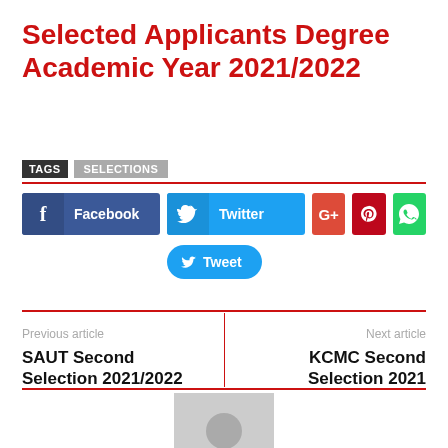Selected Applicants Degree Academic Year 2021/2022
TAGS   SELECTIONS
[Figure (infographic): Social sharing buttons: Facebook, Twitter, Google+, Pinterest, WhatsApp, and a Tweet button]
Previous article
SAUT Second Selection 2021/2022
Next article
KCMC Second Selection 2021
[Figure (photo): Generic grey user avatar placeholder image]